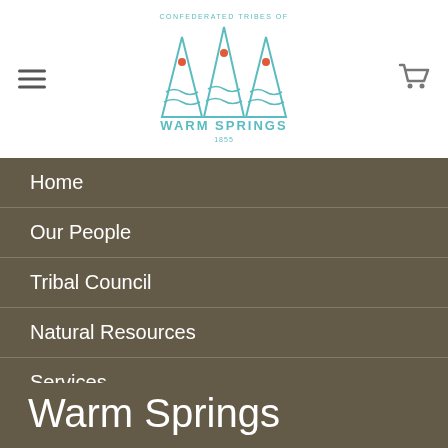[Figure (logo): Confederated Tribes of Warm Springs tribal logo with three teepees in teal/blue color and 'WARM SPRINGS' text below, dated 1855]
Home
Our People
Tribal Council
Natural Resources
Services
Enterprises
News
Warm Springs